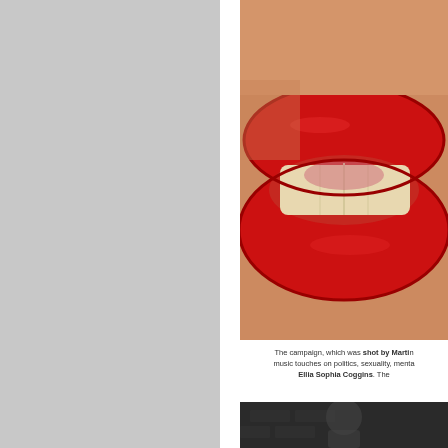[Figure (photo): Gray background panel on left side of page]
[Figure (photo): Close-up photograph of a woman's lips with bright red lipstick and slightly open mouth showing teeth]
The campaign, which was shot by Martin... music touches on politics, sexuality, menta... Ellia Sophia Coggins. The...
[Figure (photo): Partial dark photograph at the bottom, appears to show a person against a dark/brick background]